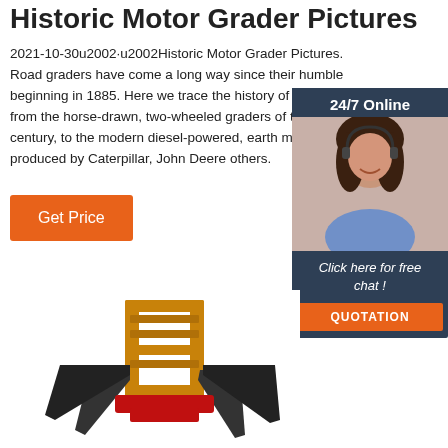Historic Motor Grader Pictures
2021-10-30u2002·u2002Historic Motor Grader Pictures. Road graders have come a long way since their humble beginning in 1885. Here we trace the history of graders, from the horse-drawn, two-wheeled graders of the early th century, to the modern diesel-powered, earth machines produced by Caterpillar, John Deere others.
[Figure (other): Orange 'Get Price' call-to-action button]
[Figure (other): 24/7 Online chat widget with photo of woman with headset, 'Click here for free chat!' text, and orange QUOTATION button]
[Figure (photo): Yellow construction machine attachment (pallet forks or similar) photographed from front angle]